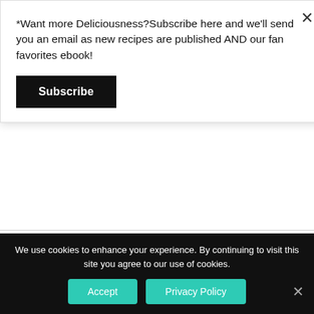*Want more Deliciousness?Subscribe here and we'll send you an email as new recipes are published AND our fan favorites ebook!
Subscribe
Nutritional information is not yet available.[/tab] [/tabs]
Directions:
[tabs type="horizontal"] [tabs_head] [tab_title]Step by Step Method[/tab_title] [tab_title]Serving Suggestions[/tab_title][/tabs_head] [tab]
Step 1
We use cookies to enhance your experience. By continuing to visit this site you agree to our use of cookies.
Accept
Privacy Policy